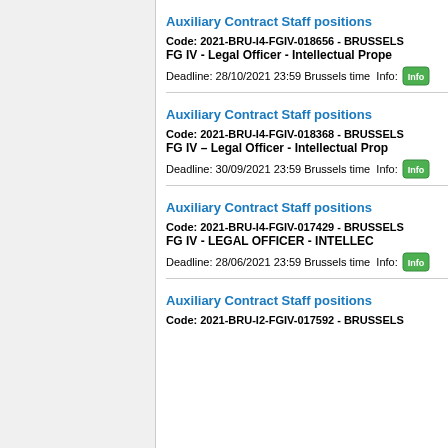Auxiliary Contract Staff positions
Code: 2021-BRU-I4-FGIV-018656 - BRUSSELS
FG IV - Legal Officer - Intellectual Prope...
Deadline: 28/10/2021 23:59 Brussels time  Info:
Auxiliary Contract Staff positions
Code: 2021-BRU-I4-FGIV-018368 - BRUSSELS
FG IV – Legal Officer - Intellectual Prop...
Deadline: 30/09/2021 23:59 Brussels time  Info:
Auxiliary Contract Staff positions
Code: 2021-BRU-I4-FGIV-017429 - BRUSSELS
FG IV - LEGAL OFFICER - INTELLEC...
Deadline: 28/06/2021 23:59 Brussels time  Info:
Auxiliary Contract Staff positions
Code: 2021-BRU-I2-FGIV-017592 - BRUSSELS